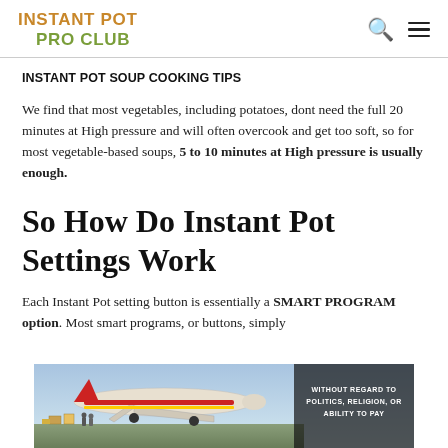INSTANT POT PRO CLUB
INSTANT POT SOUP COOKING TIPS
We find that most vegetables, including potatoes, dont need the full 20 minutes at High pressure and will often overcook and get too soft, so for most vegetable-based soups, 5 to 10 minutes at High pressure is usually enough.
So How Do Instant Pot Settings Work
Each Instant Pot setting button is essentially a SMART PROGRAM option. Most smart programs, or buttons, simply
[Figure (photo): Advertisement banner showing cargo being loaded onto an aircraft, with overlay text 'WITHOUT REGARD TO POLITICS, RELIGION, OR ABILITY TO PAY']